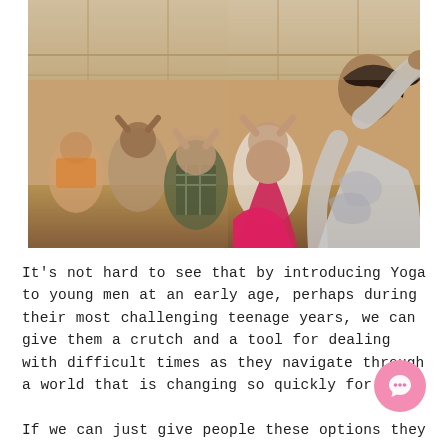[Figure (photo): A group of people sitting on the floor in a large room doing yoga, hands raised to their heads. In the foreground on the right is a woman in a grey patterned top with her arm raised. In the middle is a person with a bright red/pink draped garment. The background shows multiple participants in a yoga or mindfulness session.]
It's not hard to see that by introducing Yoga to young men at an early age, perhaps during their most challenging teenage years, we can give them a crutch and a tool for dealing with difficult times as they navigate through a world that is changing so quickly for them.
If we can just give people these options they can